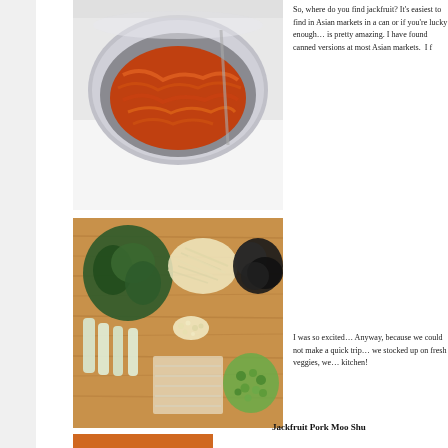[Figure (photo): A stainless steel bowl containing shredded orange jackfruit cooked with spices, resembling pulled pork]
So, where do you find jackfruit? It's easiest to find in Asian markets in a can or if you're lucky enough… is pretty amazing. I have found canned versions at most Asian markets.  I f
[Figure (photo): A wooden cutting board with various prepped vegetables: dark leafy greens (bok choy), bean sprouts, black wood ear mushrooms, sliced bamboo shoots, chopped garlic, and sliced green onions]
I was so excited… Anyway, because we could not make a quick trip… we stocked up on fresh veggies, we… kitchen!
Jackfruit Pork Moo Shu